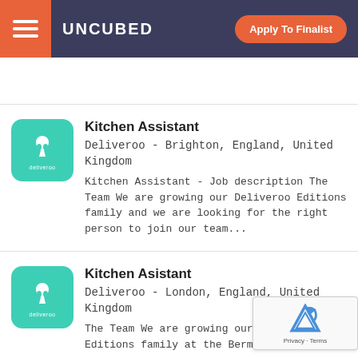UNCUBED | Apply To Finalist
Kitchen Assistant
Deliveroo - Brighton, England, United Kingdom
Kitchen Assistant - Job description The Team We are growing our Deliveroo Editions family and we are looking for the right person to join our team...
Kitchen Asistant
Deliveroo - London, England, United Kingdom
The Team We are growing our Deliveroo Editions family at the Bermondsey -